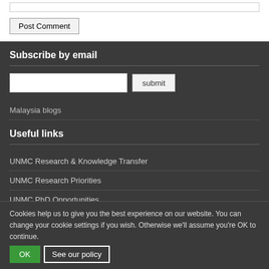[input box top]
Post Comment
Subscribe by email
[email input] submit
Malaysia blogs
Useful links
UNMC Research & Knowledge Transfer
UNMC Research Priorities
UNMC PhD Opportunities
Recent posts
Cookies help us to give you the best experience on our website. You can change your cookie settings if you wish. Otherwise we'll assume you're OK to continue.